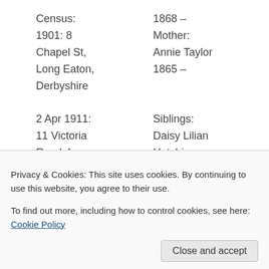Census: 1868 –
1901: 8 Mother:
Chapel St, Annie Taylor
Long Eaton, 1865 –
Derbyshire
2 Apr 1911: Siblings:
11 Victoria Daisy Lilian
Road, Long Hutchings
Eaton, 1893 –
Derbyshire George
Alfred
Hutchings
1894...
Privacy & Cookies: This site uses cookies. By continuing to use this website, you agree to their use.
To find out more, including how to control cookies, see here: Cookie Policy
Close and accept
Hutchings